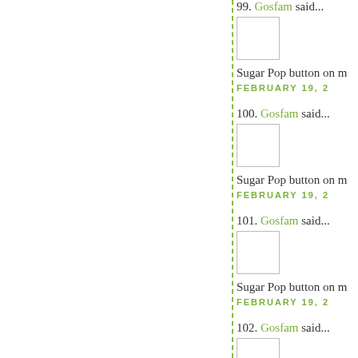99. Gosfam said... Sugar Pop button on m... FEBRUARY 19, 2...
100. Gosfam said... Sugar Pop button on m... FEBRUARY 19, 2...
101. Gosfam said... Sugar Pop button on m... FEBRUARY 19, 2...
102. Gosfam said... Sugar Pop button on m... FEBRUARY 19, 2...
103. Gosfam said... tweeted: http://twitter.... FEBRUARY 1...